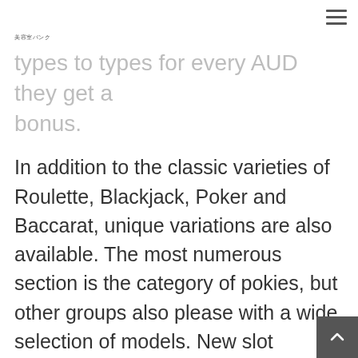美容室バンク
types to types for every AUD they get a bonus.
In addition to the classic varieties of Roulette, Blackjack, Poker and Baccarat, unique variations are also available. The most numerous section is the category of pokies, but other groups also please with a wide selection of models. New slot machines appear at Syndicate online Australia casino shortly after the release. Also, all clients who play for money at best australian casino online – Syndica